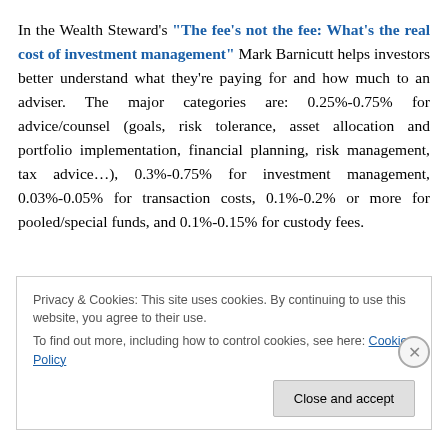In the Wealth Steward's "The fee's not the fee: What's the real cost of investment management" Mark Barnicutt helps investors better understand what they're paying for and how much to an adviser. The major categories are: 0.25%-0.75% for advice/counsel (goals, risk tolerance, asset allocation and portfolio implementation, financial planning, risk management, tax advice…), 0.3%-0.75% for investment management, 0.03%-0.05% for transaction costs, 0.1%-0.2% or more for pooled/special funds, and 0.1%-0.15% for custody fees.
Privacy & Cookies: This site uses cookies. By continuing to use this website, you agree to their use. To find out more, including how to control cookies, see here: Cookie Policy